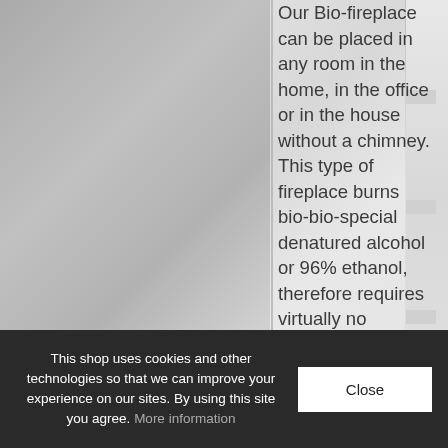[Figure (photo): Gray-toned interior photo showing what appears to be a modern fireplace or architectural detail with white panels on the right side]
Our Bio-fireplace can be placed in any room in the home, in the office or in the house without a chimney. This type of fireplace burns bio-bio-special denatured alcohol or 96% ethanol, therefore requires virtually no maintenance
This shop uses cookies and other technologies so that we can improve your experience on our sites. By using this site you agree. More information